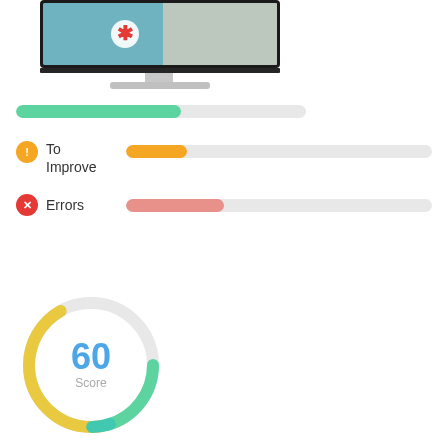[Figure (illustration): Monitor/iMac-style computer display showing an image with a red cross/asterisk symbol on screen, with silver stand and base]
[Figure (bar-chart): Score breakdown progress bars]
[Figure (donut-chart): Circular gauge showing score of 60, colored arc from teal/green to yellow]